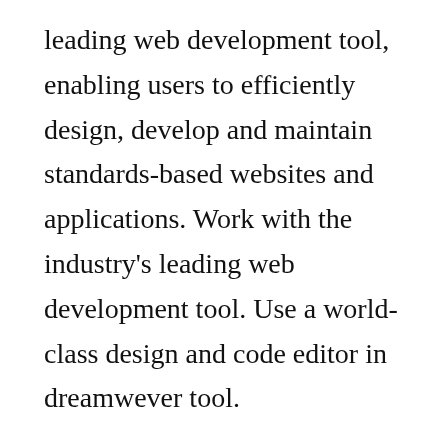leading web development tool, enabling users to efficiently design, develop and maintain standards-based websites and applications. Work with the industry's leading web development tool. Use a world-class design and code editor in dreamwever tool.
Learn one tool, dreamweaver 8 download for windows 7 free learn from the tool. Dreamweaver supports and guides users as their skills grow and web technologies evolve, facilitating easy and quick adoption